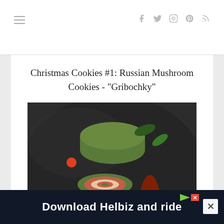Christmas Cookies #1: Russian Mushroom Cookies - "Gribochky"
[Figure (photo): Sliced spinach and salmon roulade roll with red sauce on a dark slate board, garnished with cherry tomatoes and green leaves]
From Garden to Table - Spinach and
[Figure (screenshot): Advertisement banner: Download Helbiz and ride, with green play button logo and X close button]